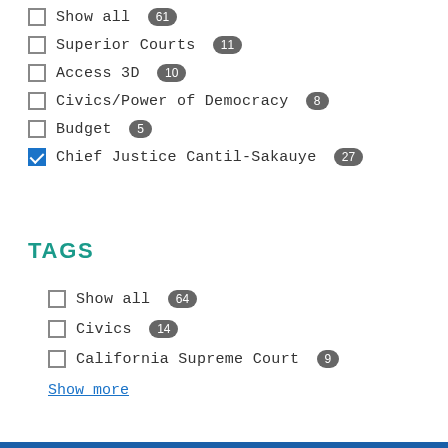Show all 61
Superior Courts 11
Access 3D 10
Civics/Power of Democracy 8
Budget 5
Chief Justice Cantil-Sakauye 27
TAGS
Show all 64
Civics 14
California Supreme Court 9
Show more